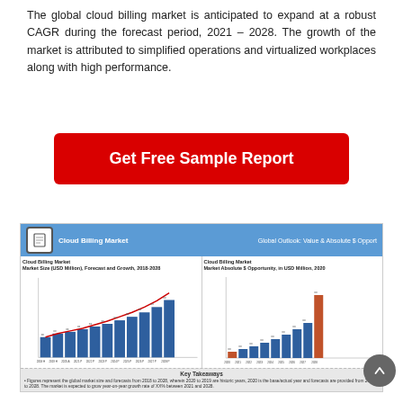The global cloud billing market is anticipated to expand at a robust CAGR during the forecast period, 2021 – 2028. The growth of the market is attributed to simplified operations and virtualized workplaces along with high performance.
[Figure (other): Red button: Get Free Sample Report]
[Figure (bar-chart): Cloud Billing Market – Market Size (USD Million), Forecast and Growth, 2018-2028. Two charts shown: left bar+line chart with years 2018H to 2028P, right bar chart Market Absolute $ Opportunity. Values shown as 'xx' (redacted sample). Key Takeaways note below.]